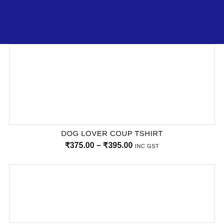[Figure (other): Dark navy/dark blue banner header strip at the top of the page]
[Figure (photo): White product image card, top — partially visible product photo area with light border]
DOG LOVER COUP TSHIRT
₹375.00 – ₹395.00 INC GST
[Figure (photo): White product image card, bottom — partially visible product photo area with light border]